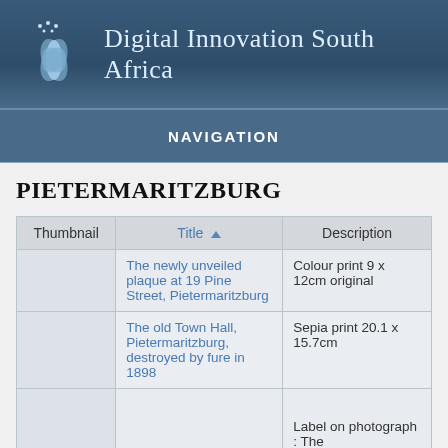Digital Innovation South Africa
NAVIGATION
PIETERMARITZBURG
| Thumbnail | Title | Description |
| --- | --- | --- |
|  | The newly unveiled plaque at 19 Pine Street, Pietermaritzburg | Colour print 9 x 12cm original |
|  | The old Town Hall, Pietermaritzburg, destroyed by fure in 1898 | Sepia print 20.1 x 15.7cm |
|  |  | Label on photograph : The |